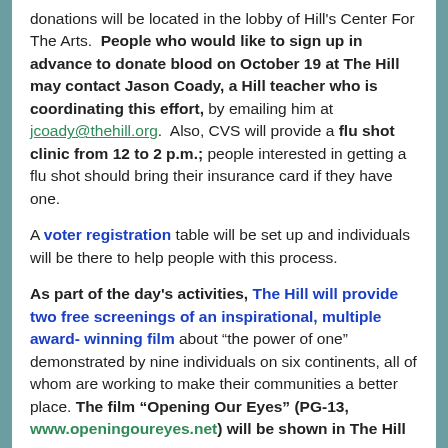donations will be located in the lobby of Hill's Center For The Arts.  People who would like to sign up in advance to donate blood on October 19 at The Hill may contact Jason Coady, a Hill teacher who is coordinating this effort, by emailing him at jcoady@thehill.org.  Also, CVS will provide a flu shot clinic from 12 to 2 p.m.; people interested in getting a flu shot should bring their insurance card if they have one.
A voter registration table will be set up and individuals will be there to help people with this process.
As part of the day's activities, The Hill will provide two free screenings of an inspirational, multiple award-winning film about "the power of one" demonstrated by nine individuals on six continents, all of whom are working to make their communities a better place. The film "Opening Our Eyes" (PG-13, www.openingoureyes.net) will be shown in The Hill